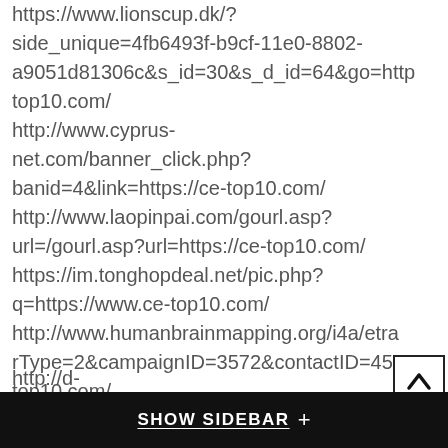https://www.lionscup.dk/?side_unique=4fb6493f-b9cf-11e0-8802-a9051d81306c&s_id=30&s_d_id=64&go=http top10.com/ http://www.cyprus-net.com/banner_click.php?banid=4&link=https://ce-top10.com/ http://www.laopinpai.com/gourl.asp?url=/gourl.asp?url=https://ce-top10.com/ https://im.tonghopdeal.net/pic.php?q=https://www.ce-top10.com/ http://www.humanbrainmapping.org/i4a/etracker/links.cfm?rType=2&campaignID=3572&contactID=4524 top10.com/ https://uk.kindofbook.com/redirect.php?red=https://www.ce-top10.com/ http://tido.al/vazhdo.php?url=https://www.ce-top10.com/ http://www.global-flat.com/mobile/mobile_switch.php?dir=tofull&url=https://ce-top10.com/ http://d-
[Figure (other): Scroll-to-top button with upward chevron arrow, white background with dark border]
SHOW SIDEBAR +